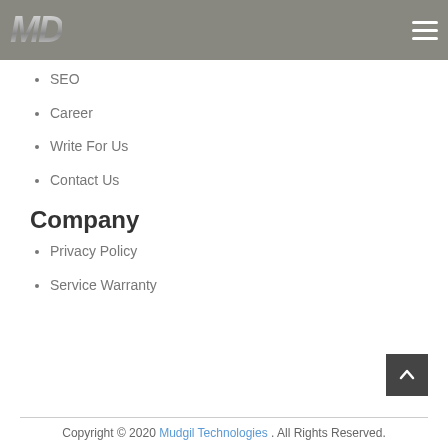MD (logo) | hamburger menu
SEO
Career
Write For Us
Contact Us
Company
Privacy Policy
Service Warranty
Copyright © 2020 Mudgil Technologies . All Rights Reserved.